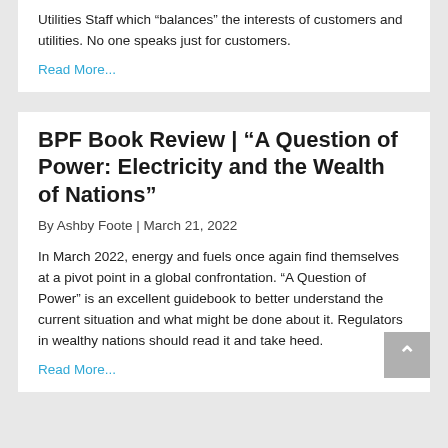Utilities Staff which “balances” the interests of customers and utilities.  No one speaks just for customers.
Read More...
BPF Book Review | “A Question of Power: Electricity and the Wealth of Nations”
By Ashby Foote | March 21, 2022
In March 2022, energy and fuels once again find themselves at a pivot point in a global confrontation.  “A Question of Power” is an excellent guidebook to better understand the current situation and what might be done about it.  Regulators in wealthy nations should read it and take heed.
Read More...